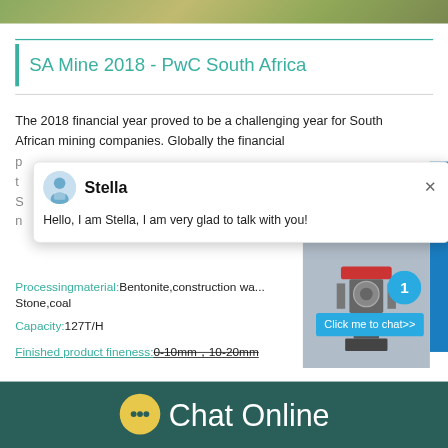[Figure (photo): Top image strip showing outdoor/nature scene, cropped]
SA Mine 2018 - PwC South Africa
The 2018 financial year proved to be a challenging year for South African mining companies. Globally the financial p...
[Figure (screenshot): Chat popup overlay with avatar of Stella and message: Hello, I am Stella, I am very glad to talk with you!]
Processingmaterial: Bentonite,construction wa... Stone,coal
Capacity: 127T/H
Finished product fineness: 0-10mm,10-20mm
[Figure (photo): Industrial crushing/mining machine on right side widget]
Chat Online